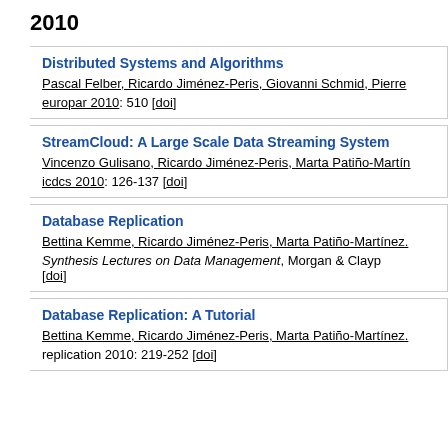2010
Distributed Systems and Algorithms
Pascal Felber, Ricardo Jiménez-Peris, Giovanni Schmid, Pierre
europar 2010: 510 [doi]
StreamCloud: A Large Scale Data Streaming System
Vincenzo Gulisano, Ricardo Jiménez-Peris, Marta Patiño-Martín
icdcs 2010: 126-137 [doi]
Database Replication
Bettina Kemme, Ricardo Jiménez-Peris, Marta Patiño-Martínez.
Synthesis Lectures on Data Management, Morgan &amp; Clayp
[doi]
Database Replication: A Tutorial
Bettina Kemme, Ricardo Jiménez-Peris, Marta Patiño-Martínez.
replication 2010: 219-252 [doi]